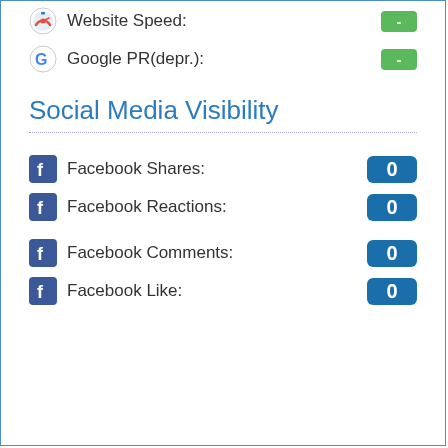Website Speed: -
Google PR(depr.): -
Social Media Visibility
Facebook Shares: 0
Facebook Reactions: 0
Facebook Comments: 0
Facebook Like: 0